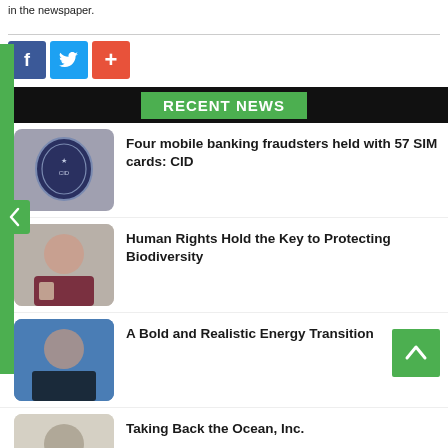in the newspaper.
[Figure (other): Social share buttons: Facebook (blue), Twitter (light blue), Plus/share (orange-red)]
RECENT NEWS
Four mobile banking fraudsters held with 57 SIM cards: CID
Human Rights Hold the Key to Protecting Biodiversity
A Bold and Realistic Energy Transition
Taking Back the Ocean, Inc.